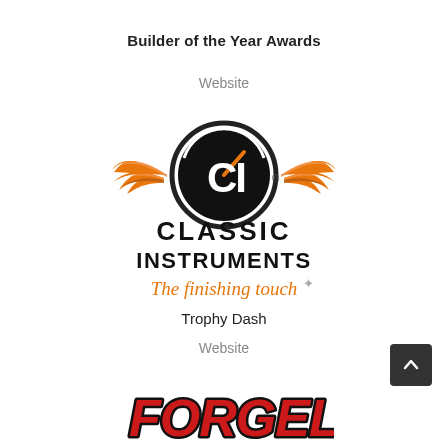Builder of the Year Awards
Website
[Figure (logo): Classic Instruments logo with orange wings, circular gauge emblem, CLASSIC INSTRUMENTS text in bold, and italic orange script 'The finishing touch' with sparkle]
Trophy Dash
Website
[Figure (logo): Forgeline logo in bold red italic letters with black outline at the bottom of the page]